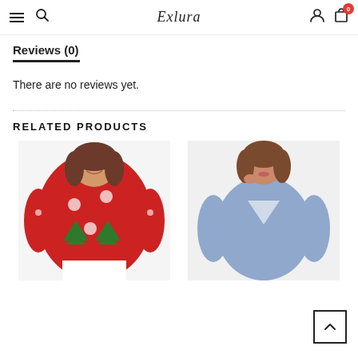Exlura navigation header with hamburger menu, search icon, logo, user icon, and cart with badge 0
Reviews (0)
There are no reviews yet.
RELATED PRODUCTS
[Figure (photo): Woman wearing a red Christmas holiday sweater with snowflakes and Christmas trees pattern]
[Figure (photo): Woman wearing a light blue wrap-style long sleeve top]